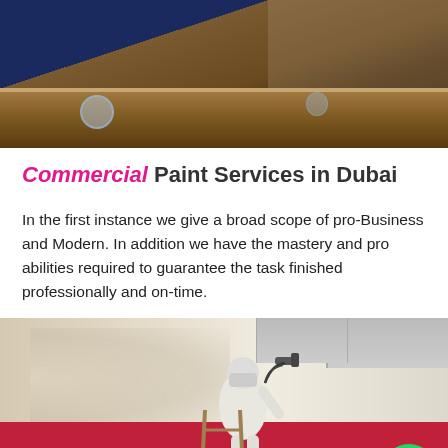[Figure (photo): Interior room photo showing dark hardwood floors, blue and white walls, and a glass on the floor]
Commercial Paint Services in Dubai
In the first instance we give a broad scope of pro-Business and Modern. In addition we have the mastery and pro abilities required to guarantee the task finished professionally and on-time.
[Figure (photo): A painter in white protective suit and mask using a spray gun to paint a wall in a commercial building, standing on a ladder, with a WhatsApp button overlay]